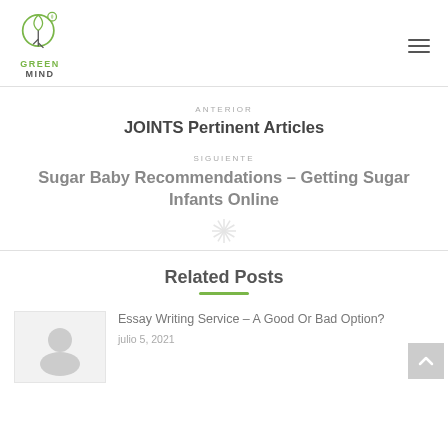GREEN MIND
ANTERIOR
JOINTS Pertinent Articles
SIGUIENTE
Sugar Baby Recommendations – Getting Sugar Infants Online
Related Posts
Essay Writing Service – A Good Or Bad Option?
julio 5, 2021